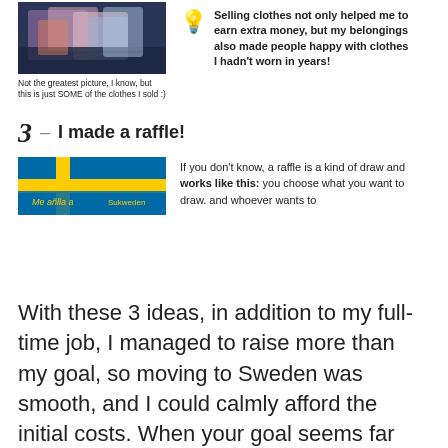[Figure (photo): Photo of clothes piled up on a dark background]
Not the greatest picture, I know, but this is just SOME of the clothes I sold :)
Selling clothes not only helped me to earn extra money, but my belongings also made people happy with clothes I hadn't worn in years!
3 – I made a raffle!
[Figure (photo): Swedish flag banner image with text overlay]
If you don't know, a raffle is a kind of draw and works like this: you choose what you want to draw. and whoever wants to
With these 3 ideas, in addition to my full-time job, I managed to raise more than my goal, so moving to Sweden was smooth, and I could calmly afford the initial costs. When your goal seems far from being achieved, remember how hard you fought for it and how many